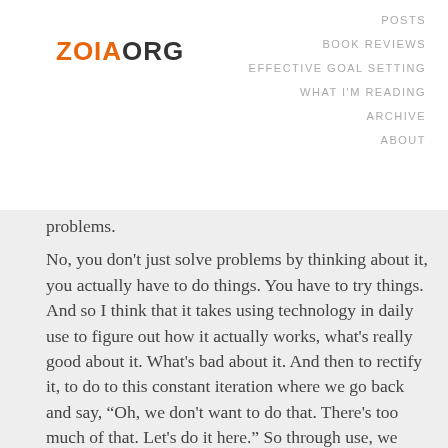ZOIAORG
POSTS
BOOK REVIEWS
EFFECTIVE GOAL SETTING
WHAT I'M READING
ARCHIVE
ABOUT
problems.
No, you don’t just solve problems by thinking about it, you actually have to do things. You have to try things. And so I think that it takes using technology in daily use to figure out how it actually works, what’s really good about it. What’s bad about it. And then to rectify it, to do to this constant iteration where we go back and say, “Oh, we don’t want to do that. There’s too much of that. Let’s do it here.” So through use, we figure out what it’s good for. It’s through use that we steer it.